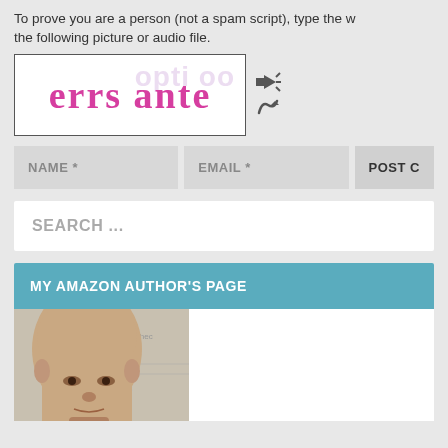To prove you are a person (not a spam script), type the w the following picture or audio file.
[Figure (screenshot): CAPTCHA image showing handwritten-style text 'errs ante' in pink/magenta on white background, with watermark text in background]
NAME * EMAIL * POST C
SEARCH ...
MY AMAZON AUTHOR'S PAGE
[Figure (photo): Photo of a bald man's head and face, partially cropped, with paper/document background behind him]